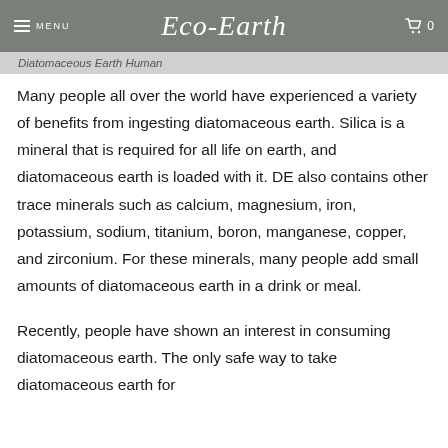MENU  Eco-Earth  0
Diatomaceous Earth Human
Many people all over the world have experienced a variety of benefits from ingesting diatomaceous earth. Silica is a mineral that is required for all life on earth, and diatomaceous earth is loaded with it. DE also contains other trace minerals such as calcium, magnesium, iron, potassium, sodium, titanium, boron, manganese, copper, and zirconium. For these minerals, many people add small amounts of diatomaceous earth in a drink or meal.
Recently, people have shown an interest in consuming diatomaceous earth. The only safe way to take diatomaceous earth for